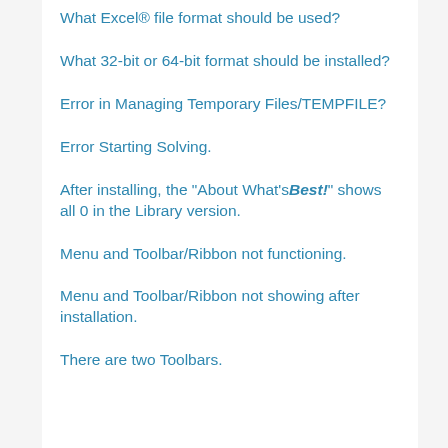What Excel® file format should be used?
What 32-bit or 64-bit format should be installed?
Error in Managing Temporary Files/TEMPFILE?
Error Starting Solving.
After installing, the "About What'sBest!" shows all 0 in the Library version.
Menu and Toolbar/Ribbon not functioning.
Menu and Toolbar/Ribbon not showing after installation.
There are two Toolbars.